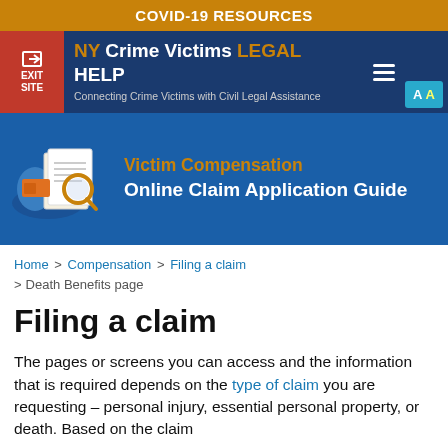COVID-19 RESOURCES
[Figure (screenshot): NY Crime Victims LEGAL HELP website navigation bar with EXIT SITE button, logo, site title, hamburger menu, and translate button]
[Figure (infographic): Hero banner with illustration of documents and magnifying glass, title 'Victim Compensation Online Claim Application Guide']
Home > Compensation > Filing a claim > Death Benefits page
Filing a claim
The pages or screens you can access and the information that is required depends on the type of claim you are requesting – personal injury, essential personal property, or death. Based on the claim